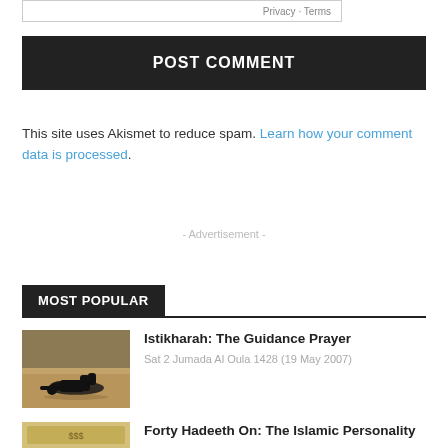Privacy · Terms
POST COMMENT
This site uses Akismet to reduce spam. Learn how your comment data is processed.
- Advertisement -
MOST POPULAR
Istikharah: The Guidance Prayer
Sat 2 Jumada Al Oula 1428 (19 May 2007)
[Figure (photo): Person prostrating in prayer on sandy ground outdoors]
Forty Hadeeth On: The Islamic Personality
[Figure (photo): Partial view of money/currency bills]